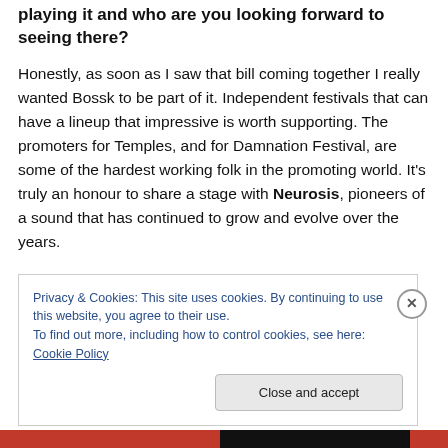playing it and who are you looking forward to seeing there?
Honestly, as soon as I saw that bill coming together I really wanted Bossk to be part of it. Independent festivals that can have a lineup that impressive is worth supporting. The promoters for Temples, and for Damnation Festival, are some of the hardest working folk in the promoting world. It's truly an honour to share a stage with Neurosis, pioneers of a sound that has continued to grow and evolve over the years.
Privacy & Cookies: This site uses cookies. By continuing to use this website, you agree to their use.
To find out more, including how to control cookies, see here: Cookie Policy
Close and accept